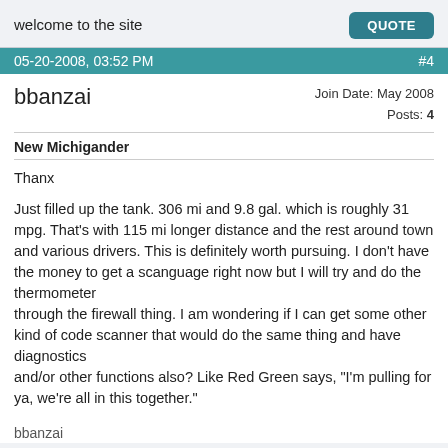welcome to the site
QUOTE
05-20-2008, 03:52 PM   #4
bbanzai
Join Date: May 2008
Posts: 4
New Michigander
Thanx

Just filled up the tank. 306 mi and 9.8 gal. which is roughly 31 mpg. That's with 115 mi longer distance and the rest around town and various drivers. This is definitely worth pursuing. I don't have the money to get a scanguage right now but I will try and do the thermometer
through the firewall thing. I am wondering if I can get some other kind of code scanner that would do the same thing and have diagnostics
and/or other functions also? Like Red Green says, "I'm pulling for ya, we're all in this together."
bbanzai